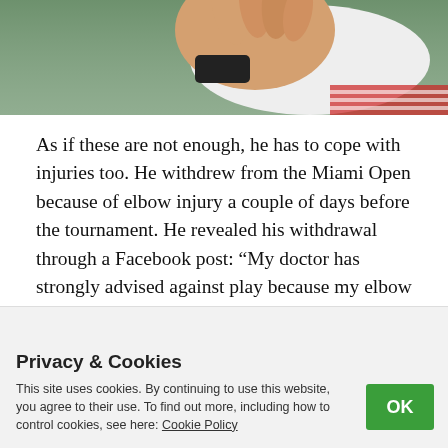[Figure (photo): Close-up photo of a tennis player's hand/wrist raised, wearing a black wristband and white clothing, with a green background.]
As if these are not enough, he has to cope with injuries too. He withdrew from the Miami Open because of elbow injury a couple of days before the tournament. He revealed his withdrawal through a Facebook post: “My doctor has strongly advised against play because my elbow injury, that I keep carrying on for months, got worse in the past week. I will do everything in my power to recover and do all the necessary therapy to be
Privacy & Cookies
This site uses cookies. By continuing to use this website, you agree to their use. To find out more, including how to control cookies, see here: Cookie Policy